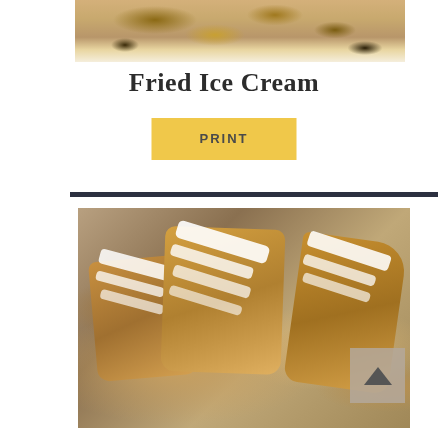[Figure (photo): Close-up photo of fried ice cream dessert with toppings, partially cropped at top of page]
Fried Ice Cream
PRINT
[Figure (photo): Photo of glazed pastry turnovers drizzled with white icing, arranged on a baking sheet]